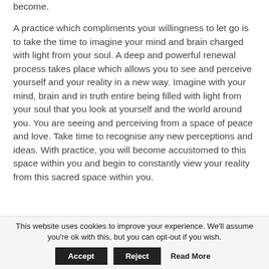become.
A practice which compliments your willingness to let go is to take the time to imagine your mind and brain charged with light from your soul. A deep and powerful renewal process takes place which allows you to see and perceive yourself and your reality in a new way. Imagine with your mind, brain and in truth entire being filled with light from your soul that you look at yourself and the world around you. You are seeing and perceiving from a space of peace and love. Take time to recognise any new perceptions and ideas. With practice, you will become accustomed to this space within you and begin to constantly view your reality from this sacred space within you.
This website uses cookies to improve your experience. We'll assume you're ok with this, but you can opt-out if you wish. Accept Reject Read More